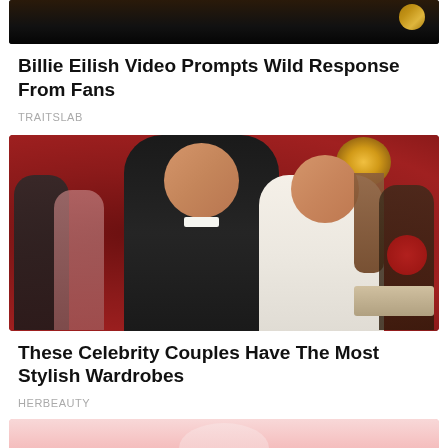[Figure (photo): Top portion of an image, dark background, partial view]
Billie Eilish Video Prompts Wild Response From Fans
TRAITSLAB
[Figure (photo): Celebrity couple at a glamorous red-walled event. Man in black tuxedo smiling as woman in white strapless dress kisses his cheek. Red walls, gold chandelier, warm lighting in background.]
These Celebrity Couples Have The Most Stylish Wardrobes
HERBEAUTY
[Figure (photo): Bottom portion of image showing pink fluffy fabric or outfit, partially visible]